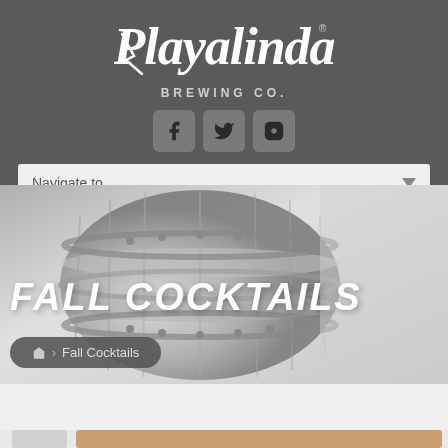[Figure (logo): Playalinda Brewing Co. script logo in white on dark grey background]
[Figure (infographic): Social media icons row: Facebook, Twitter, Instagram — dark square icons with rounded corners]
Navigate to...
FALL COCKTAILS
🏠 › Fall Cocktails
[Figure (photo): Partial view of cocktail drinks at the bottom of the page, partially visible]